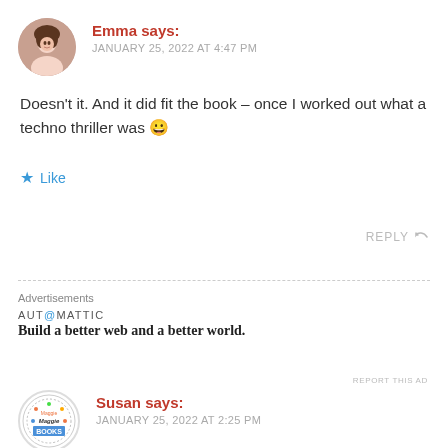[Figure (photo): Circular avatar photo of a woman with short brown hair smiling]
Emma says:
JANUARY 25, 2022 AT 4:47 PM
Doesn't it. And it did fit the book – once I worked out what a techno thriller was 😀
★ Like
REPLY
Advertisements
AUT@MATTIC
Build a better web and a better world.
REPORT THIS AD
[Figure (logo): Circular logo with 'Maggie Books' text and colorful design]
Susan says:
JANUARY 25, 2022 AT 2:25 PM